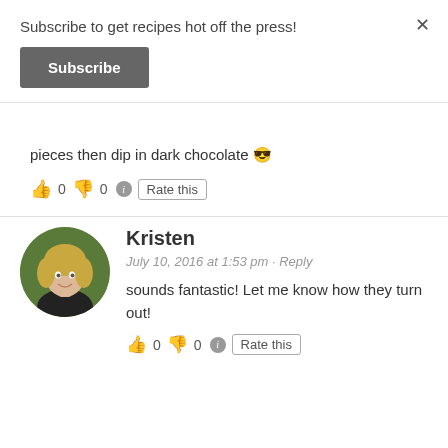Subscribe to get recipes hot off the press!
Subscribe
pieces then dip in dark chocolate 😎
👍 0 👎 0 ℹ Rate this
Kristen
July 10, 2016 at 1:53 pm · Reply
sounds fantastic! Let me know how they turn out!
👍 0 👎 0 ℹ Rate this